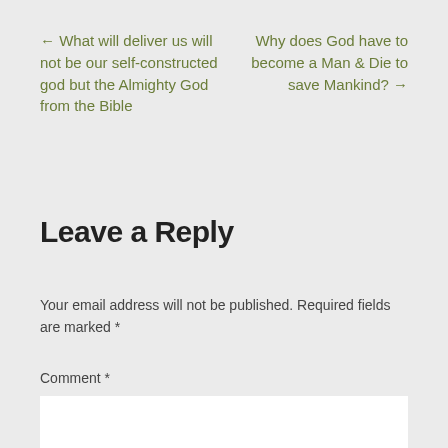← What will deliver us will not be our self-constructed god but the Almighty God from the Bible
Why does God have to become a Man & Die to save Mankind? →
Leave a Reply
Your email address will not be published. Required fields are marked *
Comment *